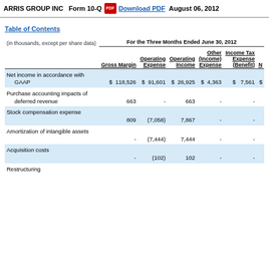ARRIS GROUP INC   Form 10-Q   Download PDF   August 06, 2012
Table of Contents
| (in thousands, except per share data) | Gross Margin | Operating Expense | Operating Income | Other (Income) Expense | Income Tax Expense (Benefit) | N |
| --- | --- | --- | --- | --- | --- | --- |
| Net income in accordance with GAAP | $ 118,526 | $ 91,601 | $ 26,925 | $ 4,363 | $ 7,561 | $ |
| Purchase accounting impacts of deferred revenue | 663 | - | 663 | - | - |  |
| Stock compensation expense | 809 | (7,058) | 7,867 | - | - |  |
| Amortization of intangible assets | - | (7,444) | 7,444 | - | - |  |
| Acquisition costs | - | (102) | 102 | - | - |  |
| Restructuring |  |  |  |  |  |  |